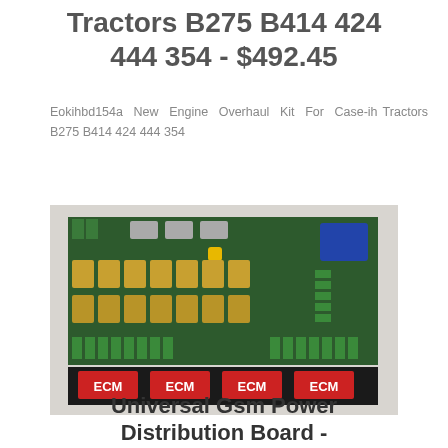Tractors B275 B414 424 444 354 - $492.45
Eokihbd154a New Engine Overhaul Kit For Case-ih Tractors B275 B414 424 444 354
[Figure (photo): Photo of a green electronic circuit board (PCB) with multiple connectors, relay components, and terminal blocks. ECM branded labels visible at the bottom.]
Universal Gsm Power Distribution Board -